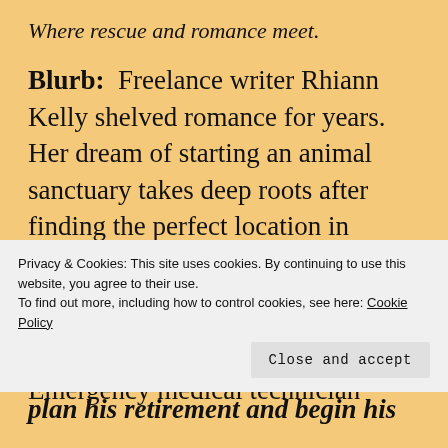Where rescue and romance meet.
Blurb:  Freelance writer Rhiann Kelly shelved romance for years. Her dream of starting an animal sanctuary takes deep roots after finding the perfect location in southwestern Montana and purchasing the property for back taxes.
Emergency medical technician
Privacy & Cookies: This site uses cookies. By continuing to use this website, you agree to their use.
To find out more, including how to control cookies, see here: Cookie Policy
plan his retirement and begin his